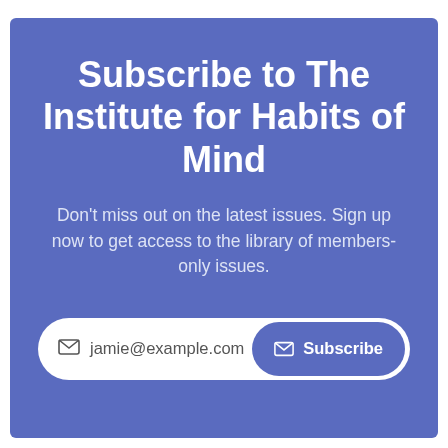Subscribe to The Institute for Habits of Mind
Don't miss out on the latest issues. Sign up now to get access to the library of members-only issues.
[Figure (other): Email subscription form with input field showing 'jamie@example.com' placeholder and a Subscribe button with envelope icon]